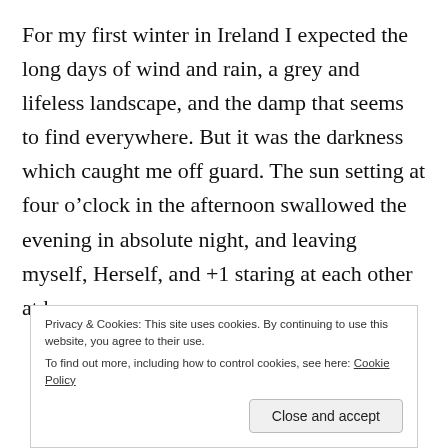For my first winter in Ireland I expected the long days of wind and rain, a grey and lifeless landscape, and the damp that seems to find everywhere. But it was the darkness which caught me off guard. The sun setting at four o’clock in the afternoon swallowed the evening in absolute night, and leaving myself, Herself, and +1 staring at each other at home,
Privacy & Cookies: This site uses cookies. By continuing to use this website, you agree to their use. To find out more, including how to control cookies, see here: Cookie Policy